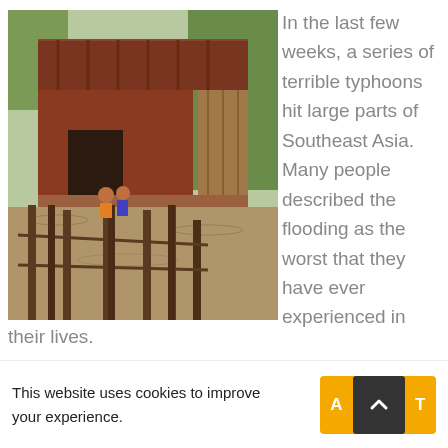[Figure (photo): A red wooden stilt house surrounded by floodwater, with wooden fence posts visible in the foreground and people sitting on the steps of the house. Vegetation visible in background.]
In the last few weeks, a series of terrible typhoons hit large parts of Southeast Asia. Many people described the flooding as the worst that they have ever experienced in their lives.
This website uses cookies to improve your experience.